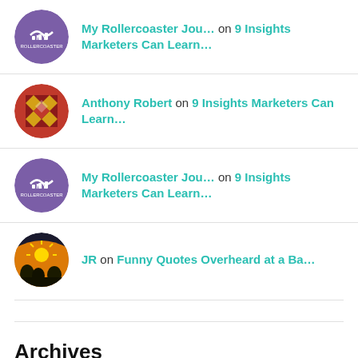My Rollercoaster Jou… on 9 Insights Marketers Can Learn…
Anthony Robert on 9 Insights Marketers Can Learn…
My Rollercoaster Jou… on 9 Insights Marketers Can Learn…
JR on Funny Quotes Overheard at a Ba…
Archives
August 2022
June 2022